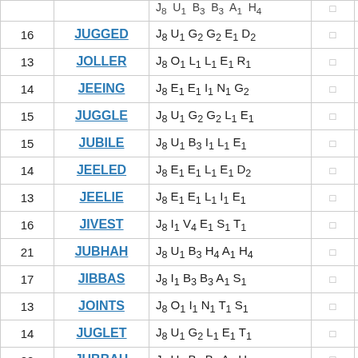| Score | Word | Tiles |  |  |
| --- | --- | --- | --- | --- |
| 16 | JUGGED | J₈ U₁ G₂ G₂ E₁ D₂ | □ | □ |
| 13 | JOLLER | J₈ O₁ L₁ L₁ E₁ R₁ | □ | □ |
| 14 | JEEING | J₈ E₁ E₁ I₁ N₁ G₂ | □ | □ |
| 15 | JUGGLE | J₈ U₁ G₂ G₂ L₁ E₁ | □ | □ |
| 15 | JUBILE | J₈ U₁ B₃ I₁ L₁ E₁ | □ | □ |
| 14 | JEELED | J₈ E₁ E₁ L₁ E₁ D₂ | □ | □ |
| 13 | JEELIE | J₈ E₁ E₁ L₁ I₁ E₁ | □ | □ |
| 16 | JIVEST | J₈ I₁ V₄ E₁ S₁ T₁ | □ | □ |
| 21 | JUBHAH | J₈ U₁ B₃ H₄ A₁ H₄ | □ | □ |
| 17 | JIBBAS | J₈ I₁ B₃ B₃ A₁ S₁ | □ | □ |
| 13 | JOINTS | J₈ O₁ I₁ N₁ T₁ S₁ | □ | □ |
| 14 | JUGLET | J₈ U₁ G₂ L₁ E₁ T₁ | □ | □ |
| 20 | JUBBAH | J₈ U₁ B₃ B₃ A₁ H₄ | □ | □ |